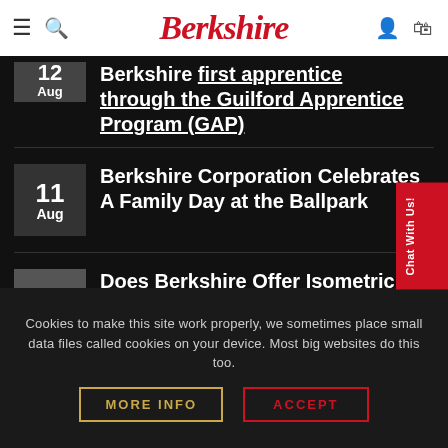Berkshire
12 Aug — Berkshire first apprentice through the Guilford Apprentice Program (GAP)
11 Aug — Berkshire Corporation Celebrates A Family Day at the Ballpark
26 Jul — Does Berkshire Offer Isometric (triangle/diamond pattern) Cleanroom Paper?
Cookies to make this site work properly, we sometimes place small data files called cookies on your device. Most big websites do this too.
MORE INFO
ACCEPT